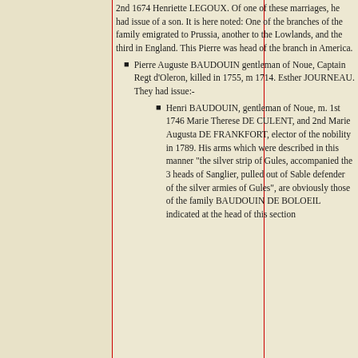2nd 1674 Henriette LEGOUX. Of one of these marriages, he had issue of a son. It is here noted: One of the branches of the family emigrated to Prussia, another to the Lowlands, and the third in England. This Pierre was head of the branch in America.
Pierre Auguste BAUDOUIN gentleman of Noue, Captain Regt d'Oleron, killed in 1755, m 1714. Esther JOURNEAU. They had issue:-
Henri BAUDOUIN, gentleman of Noue, m. 1st 1746 Marie Therese DE CULENT, and 2nd Marie Augusta DE FRANKFORT, elector of the nobility in 1789. His arms which were described in this manner "the silver strip of Gules, accompanied the 3 heads of Sanglier, pulled out of Sable defender of the silver armies of Gules", are obviously those of the family BAUDOUIN DE BOLOEIL indicated at the head of this section